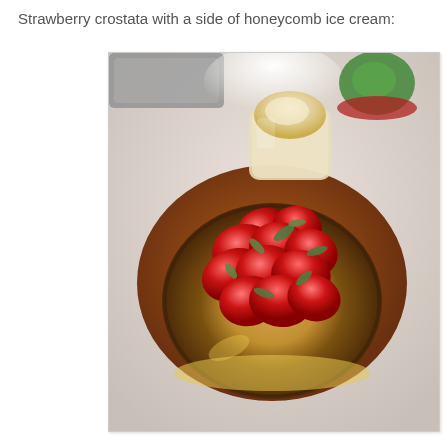Strawberry crostata with a side of honeycomb ice cream:
[Figure (photo): A strawberry crostata (Italian tart) topped with sliced fresh strawberries and green herbs, served on a brown plate. In the background is a glass jar of honeycomb ice cream. The plate sits on a marble or light stone table surface.]